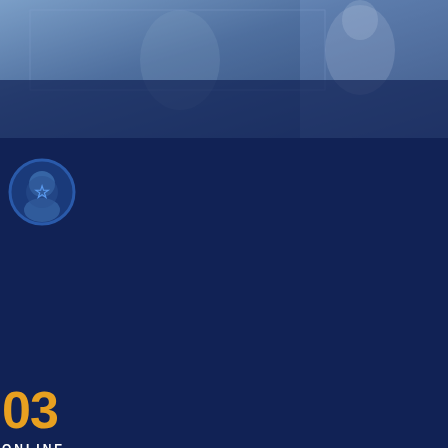[Figure (photo): Dark blue background with a person in a white shirt, website screenshot top section]
[Figure (illustration): Blue circular avatar/profile icon]
03
ONLINE
[Figure (logo): Chat! with us speech bubble logo in light blue]
2018 – 2022 © CRYPTOBIT-MINER RIGHTS RESERVED
ABO
RATE
FREQ